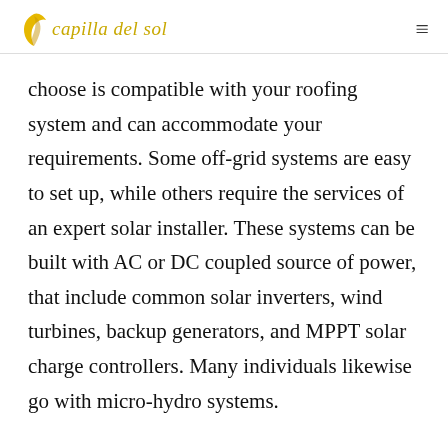capilla del sol
choose is compatible with your roofing system and can accommodate your requirements. Some off-grid systems are easy to set up, while others require the services of an expert solar installer. These systems can be built with AC or DC coupled source of power, that include common solar inverters, wind turbines, backup generators, and MPPT solar charge controllers. Many individuals likewise go with micro-hydro systems.